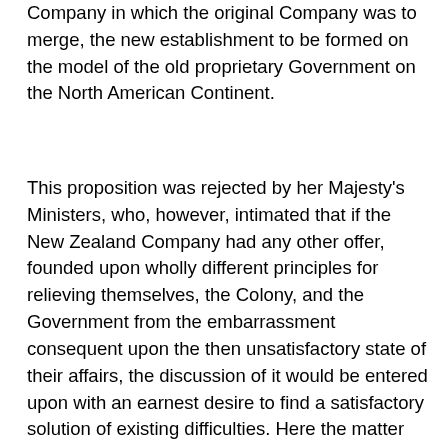Company in which the original Company was to merge, the new establishment to be formed on the model of the old proprietary Government on the North American Continent.
This proposition was rejected by her Majesty's Ministers, who, however, intimated that if the New Zealand Company had any other offer, founded upon wholly different principles for relieving themselves, the Colony, and the Government from the embarrassment consequent upon the then unsatisfactory state of their affairs, the discussion of it would be entered upon with an earnest desire to find a satisfactory solution of existing difficulties. Here the matter ended for the time, the Company not choosing to